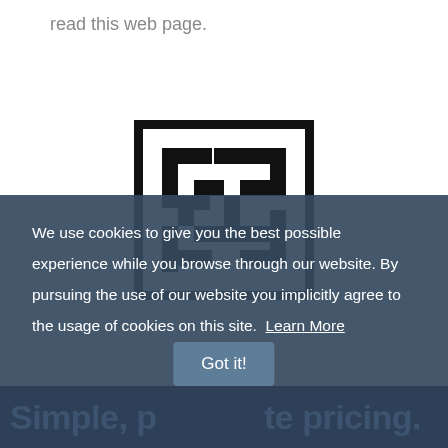read this web page.
[Figure (logo): Geometric maze-like logo mark with black and white interlocking rectangular patterns]
We use cookies to give you the best possible experience while you browse through our website. By pursuing the use of our website you implicitly agree to the usage of cookies on this site. Learn More
Got it!
Simple, p  te pricing.